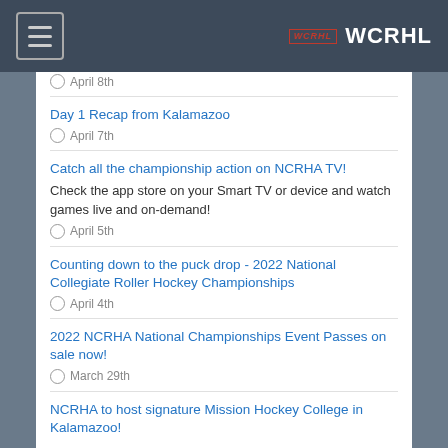WCRHL
April 8th
Day 1 Recap from Kalamazoo
April 7th
Catch all the championship action on NCRHA TV!
Check the app store on your Smart TV or device and watch games live and on-demand!
April 5th
Counting down to the puck drop - 2022 National Collegiate Roller Hockey Championships
April 4th
2022 NCRHA National Championships Event Passes on sale now!
March 29th
NCRHA to host signature Mission Hockey College in Kalamazoo!